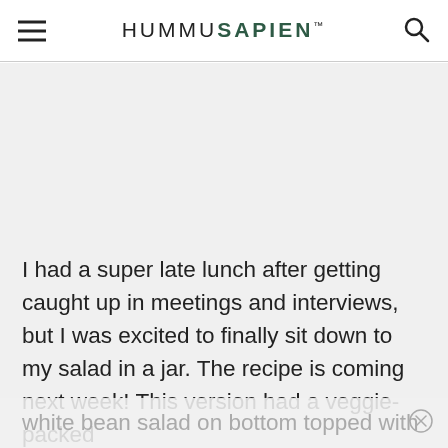HUMMUSAPIEN
I had a super late lunch after getting caught up in meetings and interviews, but I was excited to finally sit down to my salad in a jar. The recipe is coming next week! This version had a veggie-packed white bean salad on bottom topped with